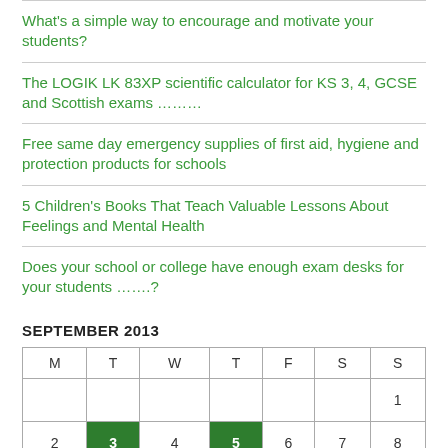What's a simple way to encourage and motivate your students?
The LOGIK LK 83XP scientific calculator for KS 3, 4, GCSE and Scottish exams ………
Free same day emergency supplies of first aid, hygiene and protection products for schools
5 Children's Books That Teach Valuable Lessons About Feelings and Mental Health
Does your school or college have enough exam desks for your students …….?
SEPTEMBER 2013
| M | T | W | T | F | S | S |
| --- | --- | --- | --- | --- | --- | --- |
|  |  |  |  |  |  | 1 |
| 2 | 3 | 4 | 5 | 6 | 7 | 8 |
|  |  |  |  |  |  |  |